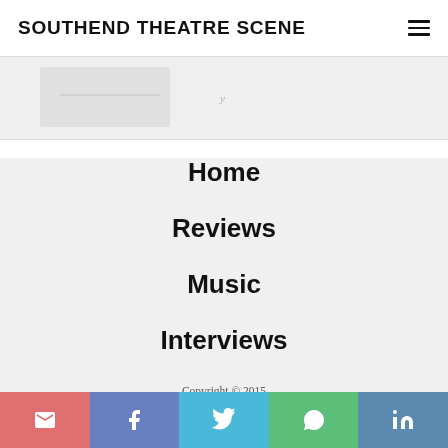SOUTHEND THEATRE SCENE
[Figure (photo): Partial image strip visible at top of page, light grey background]
Home
Reviews
Music
Interviews
Copyright © 2015
Social media icon bar: email, facebook, twitter, whatsapp, linkedin